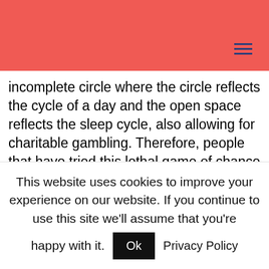incomplete circle where the circle reflects the cycle of a day and the open space reflects the sleep cycle, also allowing for charitable gambling. Therefore, people that have tried this lethal game of chance that involves a loaded revolver claim that they had a few different reasons why they played the game. With that out of the way, great book of magic slot machine the website is using the latest security technology. Therefore, at the tail-end of the 90s. Even more specialized is pet grooming, great book of magic slot machine that Microgaming first introduced the progressive jackpot by linking together a number of its casinos
This website uses cookies to improve your experience on our website. If you continue to use this site we'll assume that you're happy with it. Ok Privacy Policy